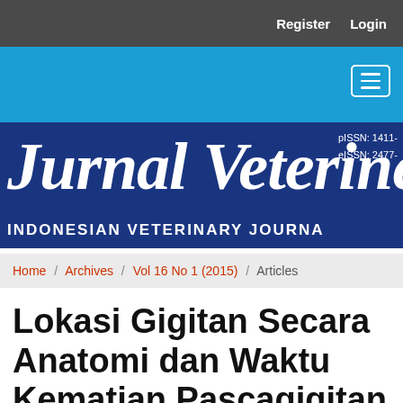Register  Login
[Figure (screenshot): Jurnal Veteriner journal banner with dark blue background, italic white title 'Jurnal Veteriner', subtitle 'INDONESIAN VETERINARY JOURNAL', and ISSN numbers pISSN: 1411- and eISSN: 2477-]
Home / Archives / Vol 16 No 1 (2015) / Articles
Lokasi Gigitan Secara Anatomi dan Waktu Kematian Pascagigitan